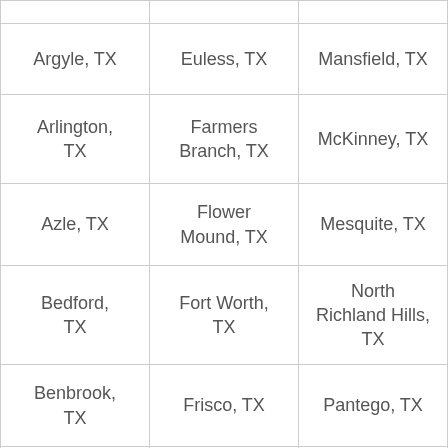| Argyle, TX | Euless, TX | Mansfield, TX |
| Arlington, TX | Farmers Branch, TX | McKinney, TX |
| Azle, TX | Flower Mound, TX | Mesquite, TX |
| Bedford, TX | Fort Worth, TX | North Richland Hills, TX |
| Benbrook, TX | Frisco, TX | Pantego, TX |
| Burleson, TX | Garland, TX | Plano, TX |
| Carrollton, TX | Grand Prairie, TX | Richardson, TX |